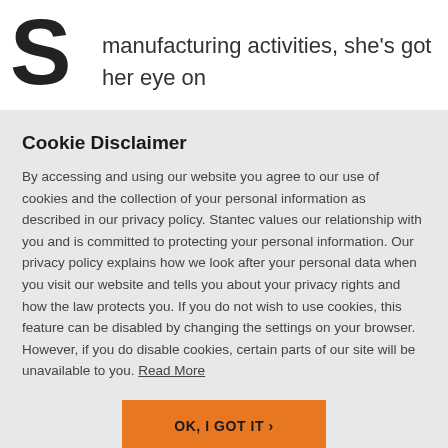[Figure (logo): Large letter S logo in black, part of Stantec branding]
manufacturing activities, she's got her eye on
Cookie Disclaimer
By accessing and using our website you agree to our use of cookies and the collection of your personal information as described in our privacy policy. Stantec values our relationship with you and is committed to protecting your personal information. Our privacy policy explains how we look after your personal data when you visit our website and tells you about your privacy rights and how the law protects you. If you do not wish to use cookies, this feature can be disabled by changing the settings on your browser. However, if you do disable cookies, certain parts of our site will be unavailable to you. Read More